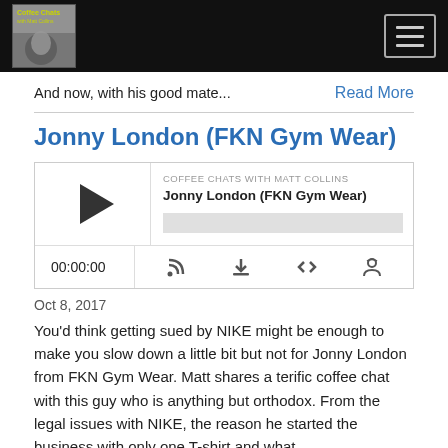Coffee Chats with Matt Collins [logo] [hamburger menu button]
And now, with his good mate...
Read More
Jonny London (FKN Gym Wear)
[Figure (other): Podcast audio player widget for 'Jonny London (FKN Gym Wear)' episode on Coffee Chats with Matt Collins. Shows play button, progress bar, time display 00:00:00, and control icons for RSS, download, embed, and share.]
Oct 8, 2017
You'd think getting sued by NIKE might be enough to make you slow down a little bit but not for Jonny London from FKN Gym Wear. Matt shares a terific coffee chat with this guy who is anything but orthodox. From the legal issues with NIKE, the reason he started the business with only one T-shirt and what